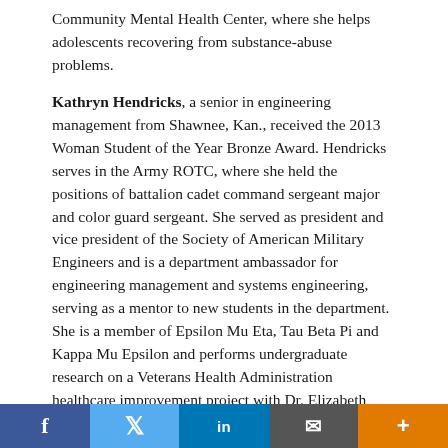Community Mental Health Center, where she helps adolescents recovering from substance-abuse problems.
Kathryn Hendricks, a senior in engineering management from Shawnee, Kan., received the 2013 Woman Student of the Year Bronze Award. Hendricks serves in the Army ROTC, where she held the positions of battalion cadet command sergeant major and color guard sergeant. She served as president and vice president of the Society of American Military Engineers and is a department ambassador for engineering management and systems engineering, serving as a mentor to new students in the department. She is a member of Epsilon Mu Eta, Tau Beta Pi and Kappa Mu Epsilon and performs undergraduate research on a Veterans Health Administration healthcare improvement project with Dr. Elizabeth Cudney, associate professor of engineering management and systems engineering.
The Alumna and Woman Student of the Year Award
[Figure (other): Social sharing bar with buttons for Facebook, Twitter, LinkedIn, Email, and More]